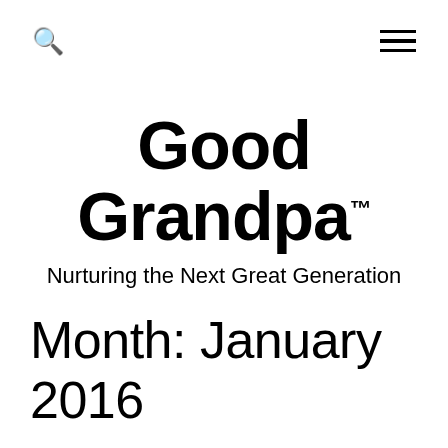🔍  ☰
Good Grandpa™
Nurturing the Next Great Generation
Month: January 2016